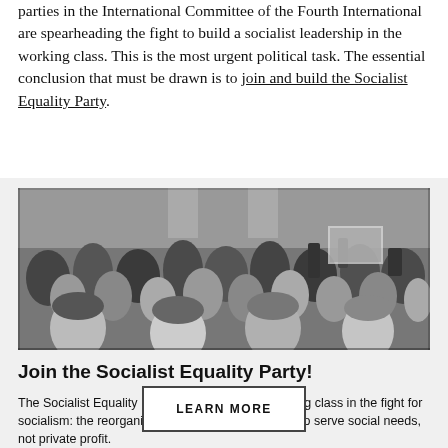parties in the International Committee of the Fourth International are spearheading the fight to build a socialist leadership in the working class. This is the most urgent political task. The essential conclusion that must be drawn is to join and build the Socialist Equality Party.
[Figure (photo): Black and white photograph of a large crowd of people, many smiling and holding up phones/signs, appearing to be at a political rally or gathering.]
Join the Socialist Equality Party!
The Socialist Equality Party is organizing the working class in the fight for socialism: the reorganization of all of economic life to serve social needs, not private profit.
LEARN MORE